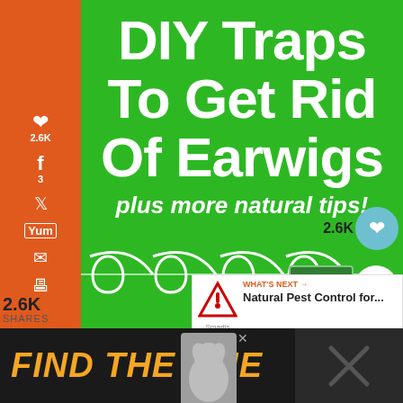[Figure (screenshot): Green background image with white bold text reading 'DIY Traps To Get Rid Of Earwigs plus more natural tips!' with decorative loop graphics. Orange social media share sidebar on left with Pinterest 2.6K, Facebook 3, Twitter, Yummly, Email, Print buttons. Floating heart button showing 2.6K and share button. Small hybrid rasta badge. What's Next panel showing Natural Pest Control for... Ad banner at bottom with 'FIND THE ONE' text and dog photo.]